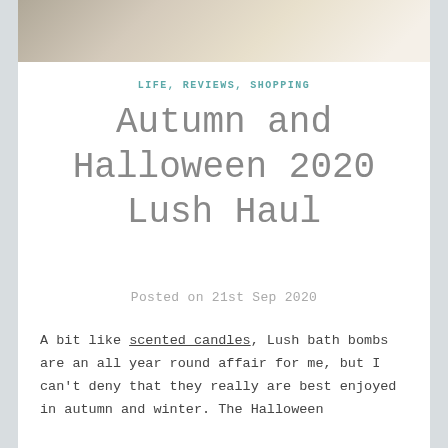[Figure (photo): Partial view of Lush bath bombs, white/cream colored, on a wooden surface — cropped at top of page]
LIFE, REVIEWS, SHOPPING
Autumn and Halloween 2020 Lush Haul
Posted on 21st Sep 2020
A bit like scented candles, Lush bath bombs are an all year round affair for me, but I can't deny that they really are best enjoyed in autumn and winter. The Halloween